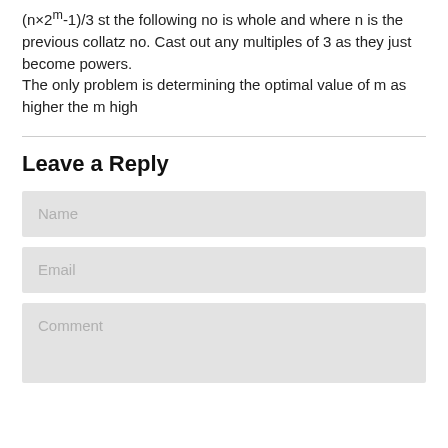(n×2^m-1)/3 st the following no is whole and where n is the previous collatz no. Cast out any multiples of 3 as they just become powers.
The only problem is determining the optimal value of m as higher the m high
Leave a Reply
[Figure (screenshot): A web comment form with three input fields: Name, Email, and Comment, all with light gray backgrounds.]